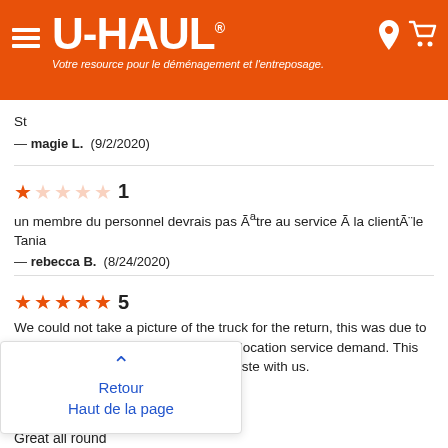U-HAUL® — Votre resource pour le déménagement et l'entreposage.
St
— magie L.  (9/2/2020)
[Figure (other): 1-star rating (1 out of 5 stars filled orange) with number 1]
un membre du personnel devrais pas Ãªtre au service Ã  la clientÃ¨le Tania
— rebecca B.  (8/24/2020)
[Figure (other): 5-star rating (all 5 stars filled orange) with number 5]
We could not take a picture of the truck for the return, this was due to Uhaul poor WEB Site design, making location service demand. This process with the Web site left a bad taste with us.
020)
Retour
Haut de la page
Great all round